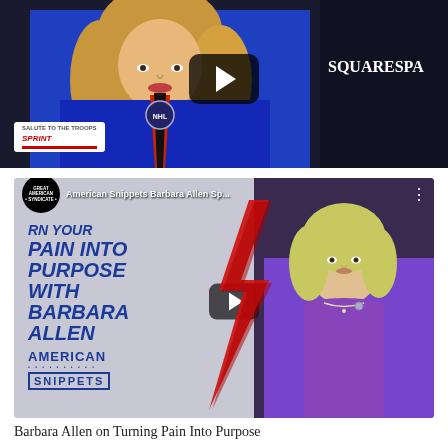[Figure (screenshot): Top video thumbnail showing a woman in a blue jersey with a play button overlay and SQUARESPA text visible on right, with a Salute to the Troops badge at bottom left]
[Figure (screenshot): YouTube video thumbnail for 'American Snippets Barbara Allen Sp...' showing text 'TURN YOUR PAIN INTO PURPOSE WITH BARBARA ALLEN' in bold blue italic on left, red lightning bolt in center, woman in purple dress on right, American Snippets logo at bottom left. Channel: Great American Syndicate]
Barbara Allen on Turning Pain Into Purpose